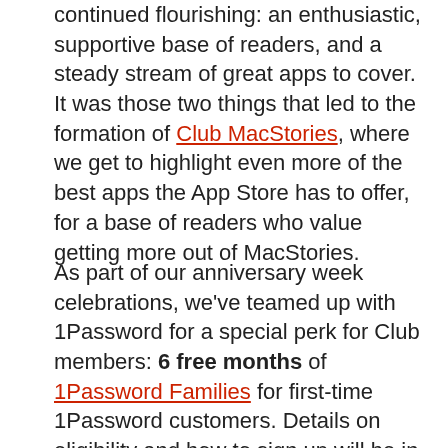continued flourishing: an enthusiastic, supportive base of readers, and a steady stream of great apps to cover. It was those two things that led to the formation of Club MacStories, where we get to highlight even more of the best apps the App Store has to offer, for a base of readers who value getting more out of MacStories.
As part of our anniversary week celebrations, we've teamed up with 1Password for a special perk for Club members: 6 free months of 1Password Families for first-time 1Password customers. Details on eligibility and how to sign up will be in this Friday's MacStories Weekly newsletter.
Longtime MacStories readers will know that 1Password has consistently been one of our